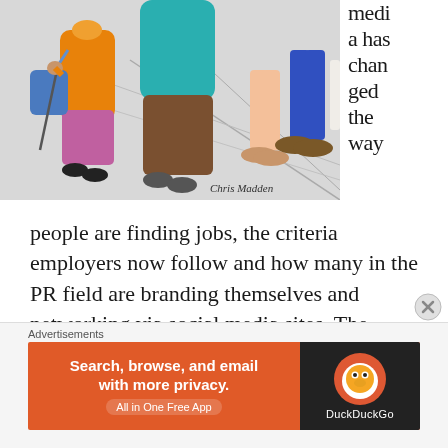[Figure (illustration): Colorful cartoon illustration showing people walking, including a person in an orange jacket carrying a bag, person in teal/green sweatshirt, and legs of other pedestrians on a sidewalk. Signed 'Chris Madden'.]
media has changed the way people are finding jobs, the criteria employers now follow and how many in the PR field are branding themselves and networking via social media sites. The videos mentioned noted some astonishing statistics, making it impossible to ignore the social media...
[Figure (other): DuckDuckGo advertisement banner: 'Search, browse, and email with more privacy. All in One Free App' with DuckDuckGo logo on dark background.]